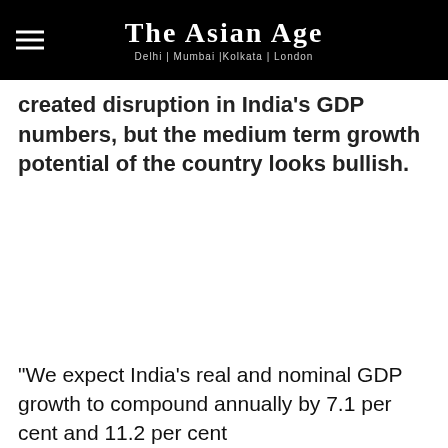THE ASIAN AGE — Delhi | Mumbai | Kolkata | London
created disruption in India's GDP numbers, but the medium term growth potential of the country looks bullish.
"We expect India's real and nominal GDP growth to compound annually by 7.1 per cent and 11.2 per cent...